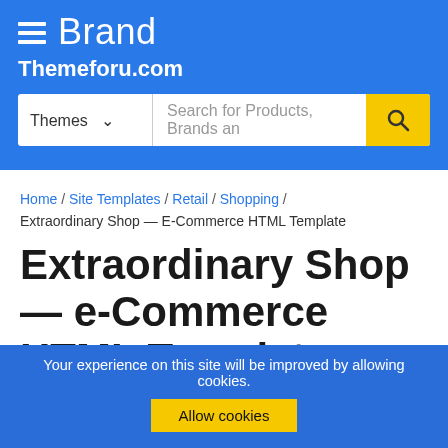≡ Brand
Themeforu.com
[Figure (screenshot): Search bar with Themes dropdown, text input 'Search for Products, Brands an', and yellow search button with magnifying glass icon]
Home / Site Templates / Retail / Shopping / Extraordinary Shop — E-Commerce HTML Template
Extraordinary Shop — e-Commerce HTML Template
[Figure (screenshot): Partial product preview showing dark left panel and light grey circle on right]
Your experience on this site will be improved by allowing cookies.
Allow cookies